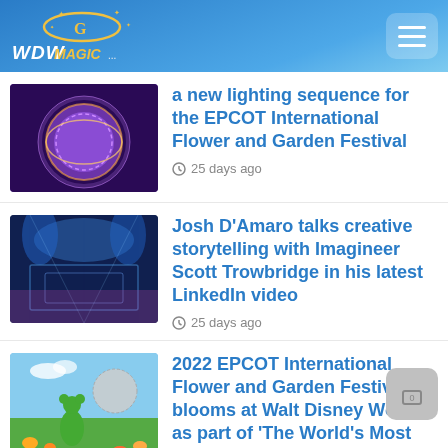WDWMagic.com
Spaceship Earth will feature a new lighting sequence for the EPCOT International Flower and Garden Festival
25 days ago
Josh D'Amaro talks creative storytelling with Imagineer Scott Trowbridge in his latest LinkedIn video
25 days ago
2022 EPCOT International Flower and Garden Festival blooms at Walt Disney World as part of 'The World's Most Magical Celebration'